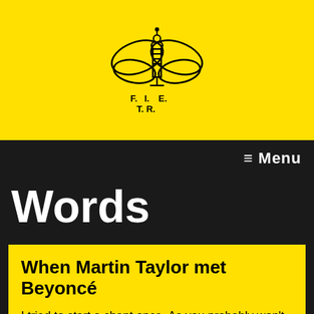[Figure (logo): Bee/insect logo with microphone body, labeled F. I. E. T. R. in black on yellow background]
≡ Menu
Words
When Martin Taylor met Beyoncé
I tried to start a chant once. As you probably won't be surprised to learn, it didn't go well.
Three and not so easy